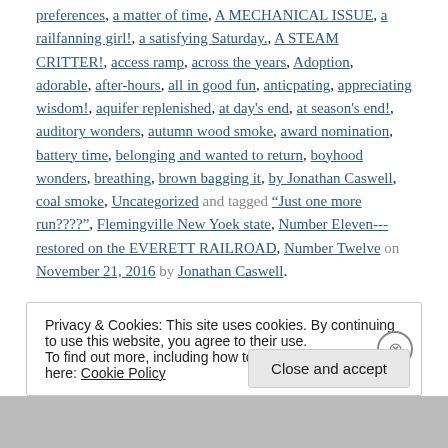preferences, a matter of time, A MECHANICAL ISSUE, a railfanning girl!, a satisfying Saturday., A STEAM CRITTER!, access ramp, across the years, Adoption, adorable, after-hours, all in good fun, anticpating, appreciating wisdom!, aquifer replenished, at day's end, at season's end!, auditory wonders, autumn wood smoke, award nomination, battery time, belonging and wanted to return, boyhood wonders, breathing, brown bagging it, by Jonathan Caswell, coal smoke, Uncategorized and tagged "Just one more run????", Flemingville New Yoek state, Number Eleven---restored on the EVERETT RAILROAD, Number Twelve on November 21, 2016 by Jonathan Caswell.
Privacy & Cookies: This site uses cookies. By continuing to use this website, you agree to their use.
To find out more, including how to control cookies, see here: Cookie Policy
Close and accept